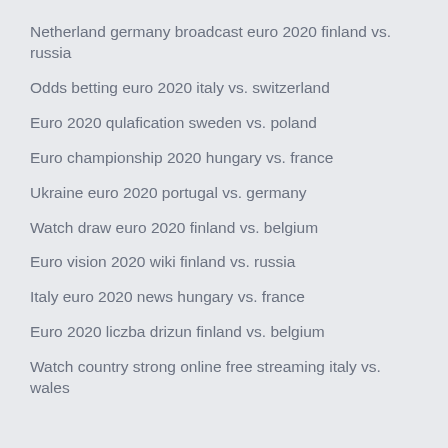Netherland germany broadcast euro 2020 finland vs. russia
Odds betting euro 2020 italy vs. switzerland
Euro 2020 qulafication sweden vs. poland
Euro championship 2020 hungary vs. france
Ukraine euro 2020 portugal vs. germany
Watch draw euro 2020 finland vs. belgium
Euro vision 2020 wiki finland vs. russia
Italy euro 2020 news hungary vs. france
Euro 2020 liczba drizun finland vs. belgium
Watch country strong online free streaming italy vs. wales